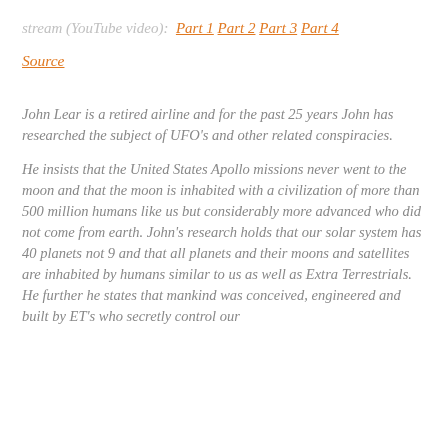stream (YouTube video):  Part 1 Part 2 Part 3 Part 4
Source
John Lear is a retired airline and for the past 25 years John has researched the subject of UFO's and other related conspiracies.
He insists that the United States Apollo missions never went to the moon and that the moon is inhabited with a civilization of more than 500 million humans like us but considerably more advanced who did not come from earth. John's research holds that our solar system has 40 planets not 9 and that all planets and their moons and satellites are inhabited by humans similar to us as well as Extra Terrestrials.
He further he states that mankind was conceived, engineered and built by ET's who secretly control our